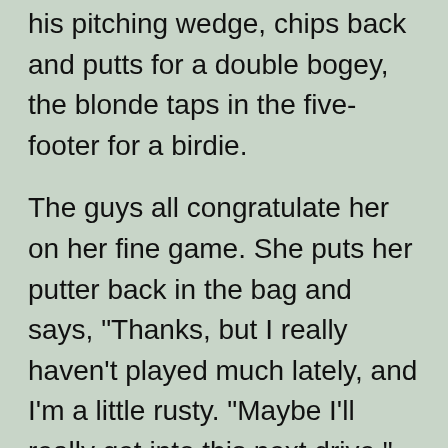his pitching wedge, chips back and putts for a double bogey, the blonde taps in the five-footer for a birdie.
The guys all congratulate her on her fine game. She puts her putter back in the bag and says, "Thanks, but I really haven't played much lately, and I'm a little rusty. "Maybe I'll really get into this next drive."
Having the honors, she drives first on the second hole and knocks the hell out of the ball, and it lands nearly 300 yards away smack in the middle of the fairway. For the rest of the round the statuesque blonde continues to